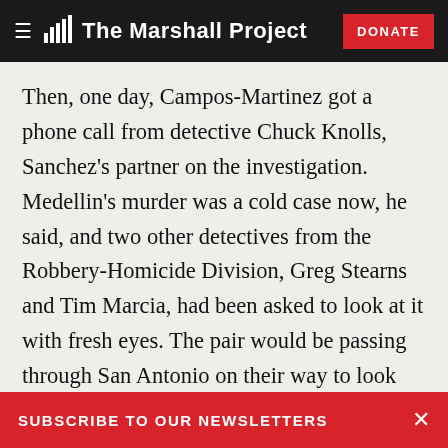The Marshall Project | DONATE
Then, one day, Campos-Martinez got a phone call from detective Chuck Knolls, Sanchez’s partner on the investigation. Medellin’s murder was a cold case now, he said, and two other detectives from the Robbery-Homicide Division, Greg Stearns and Tim Marcia, had been asked to look at it with fresh eyes. The pair would be passing through San Antonio on their way to look into cases elsewhere, he said, and he wanted to know if Campos-Martinez could meet the two of them and just talk. He was polite, respectful. He suggested meeting at the detectives’ hotel, near
SUBSCRIBE TO OUR NEWSLETTERS